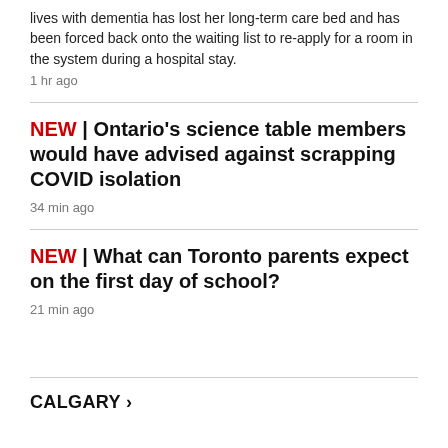lives with dementia has lost her long-term care bed and has been forced back onto the waiting list to re-apply for a room in the system during a hospital stay.
1 hr ago
NEW | Ontario's science table members would have advised against scrapping COVID isolation
34 min ago
NEW | What can Toronto parents expect on the first day of school?
21 min ago
CALGARY >